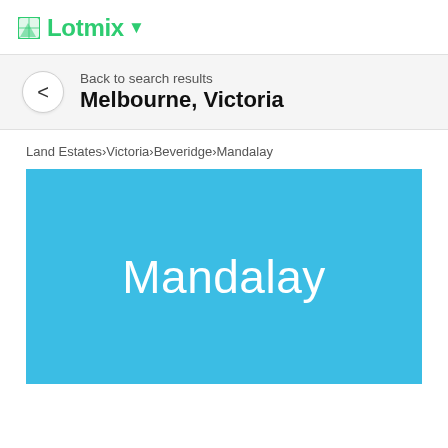Lotmix
Back to search results
Melbourne, Victoria
Land Estates > Victoria > Beveridge > Mandalay
[Figure (illustration): Blue banner image with white text reading 'Mandalay']